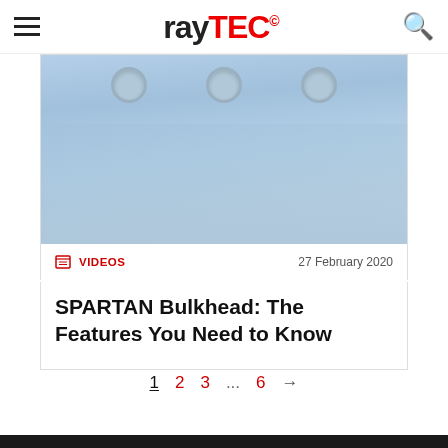raytec
[Figure (photo): Photo of a lighting fixture or panel with visible mounting holes against a light blue sky background]
VIDEOS  27 February 2020
SPARTAN Bulkhead: The Features You Need to Know
1  2  3  ...  6  →